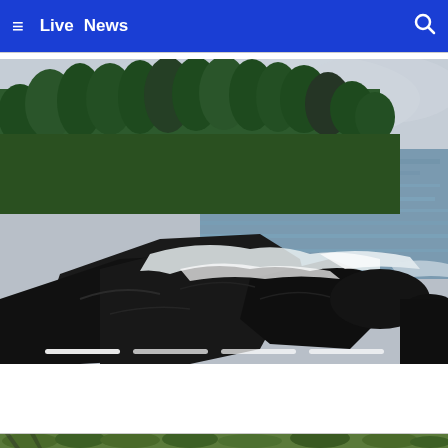≡ Live News 🔍
[Figure (photo): Coastal rocky shoreline scene with dark lava rocks in foreground, white ocean waves crashing against the rocks, and a dense line of tall green trees in the background under an overcast gray sky. Slider indicator dots visible at the bottom.]
[Figure (photo): Partial bottom strip showing the edge of another photo with tropical vegetation.]